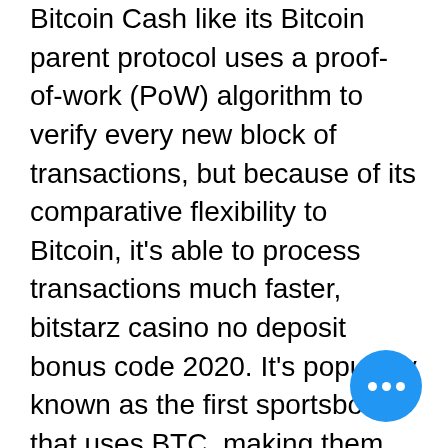Bitcoin Cash  like its Bitcoin parent protocol uses a proof-of-work (PoW) algorithm to verify every new block of transactions, but because of its comparative flexibility to Bitcoin, it's able to process transactions much faster, bitstarz casino no deposit bonus code 2020. It's popularly known as the first sportsbook that uses BTC, making them so popular from the past year, bitstarz casino bonus senza deposito codes. The company and its members keep growing proportional to the popularity of cryptocurrencies worldwide. Earlier this year, major banks stopped letting people buy cryptocurrencies with credit cards because of a ballooning risk of defaults, bitstarz casino online. People should not speculate with money they cannot afford to lose, and they certainly shouldn't gamble with borrowed funds. Betflip is a new bitcoin sportsbook; although I couldn't any complaint about their behavior, they lack a solid reputation, bitstarz casino